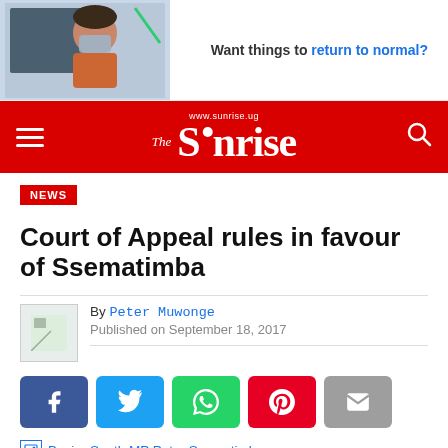[Figure (photo): Advertisement banner with a woman wearing a mask and the text 'Want things to return to normal?']
The Sunrise www.sunrise.ug
NEWS
Court of Appeal rules in favour of Ssematimba
By Peter Muwonge
Published on September 18, 2017
[Figure (infographic): Social share buttons: Facebook, Twitter, WhatsApp, Pinterest, Email]
[Figure (photo): Broken image placeholder for Busiro South MP Peter Ssematimba]
Busiro South MP Peter Ssematimba
A panel of three Justices of the Court of Appeal has